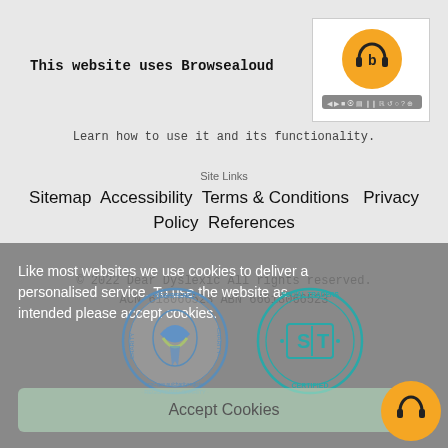This website uses Browsealoud
[Figure (logo): Browsealoud logo - orange circle with headphones icon and toolbar]
Learn how to use it and its functionality.
Site Links
Sitemap Accessibility Terms & Conditions  Privacy Policy References
© 2022 Dear Dyslexic All rights reserved.
ACN 618066523 ABN 66618066523
Like most websites we use cookies to deliver a personalised service. To use the website as intended please accept cookies.
[Figure (logo): Registered Charity seal - acnc.gov.au/charityregister]
[Figure (logo): Social Traders Certified seal with S|T logo]
Accept Cookies
[Figure (logo): Browsealoud floating orange circle button with headphones]